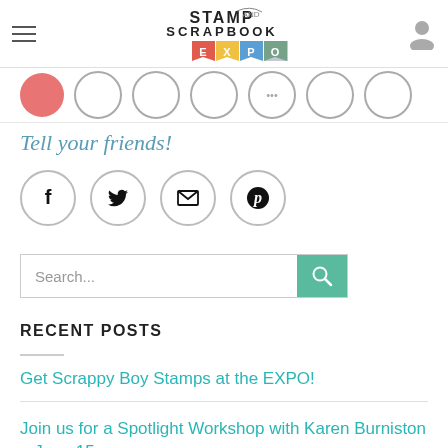Stamp and Scrapbook Expo
[Figure (logo): Stamp and Scrapbook Expo logo with colorful pennant banner flags spelling EXPO]
[Figure (infographic): Social sharing circles strip, partially visible]
Tell your friends!
[Figure (infographic): Social share icon circles: Facebook, Twitter, Email, Pinterest]
[Figure (other): Search bar with green search button]
RECENT POSTS
Get Scrappy Boy Stamps at the EXPO!
Join us for a Spotlight Workshop with Karen Burniston – June 15